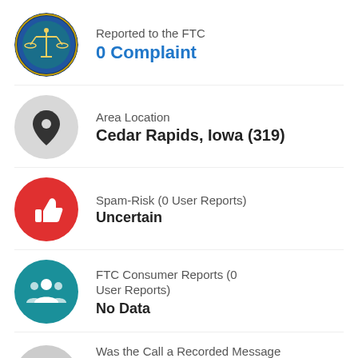[Figure (logo): FTC circular seal logo with scales of justice]
Reported to the FTC
0 Complaint
[Figure (illustration): Grey circle with black map pin/location icon]
Area Location
Cedar Rapids, Iowa (319)
[Figure (illustration): Red circle with white thumbs down icon]
Spam-Risk (0 User Reports)
Uncertain
[Figure (illustration): Teal circle with white group/people icon]
FTC Consumer Reports (0 User Reports)
No Data
[Figure (illustration): Grey circle with phone/robocall icon]
Was the Call a Recorded Message or Robocall?
0 Yes   0 No   0 N/A